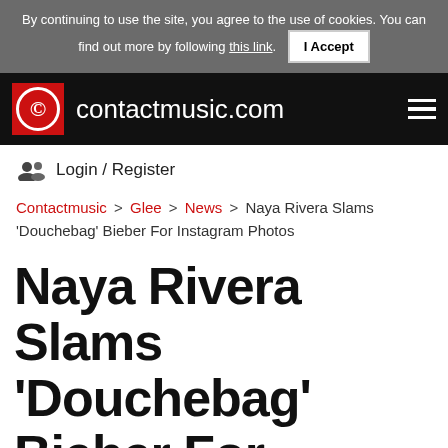By continuing to use the site, you agree to the use of cookies. You can find out more by following this link. I Accept
contactmusic.com
Login / Register
Contactmusic > Glee > News > Naya Rivera Slams 'Douchebag' Bieber For Instagram Photos
Naya Rivera Slams 'Douchebag' Bieber For Instagram Photos